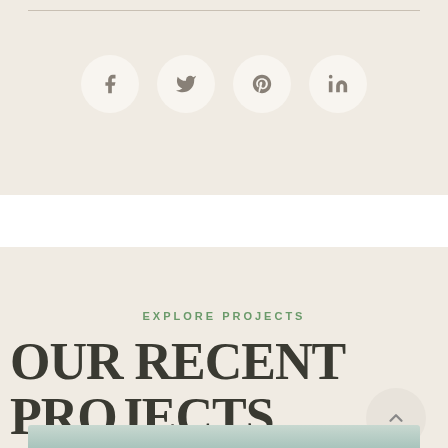[Figure (infographic): Social media share icons: Facebook, Twitter, Pinterest, LinkedIn — each in a white circle on a beige background]
EXPLORE PROJECTS
OUR RECENT PROJECTS
[Figure (photo): Bottom edge of a muted teal/seafoam color image strip, partially visible]